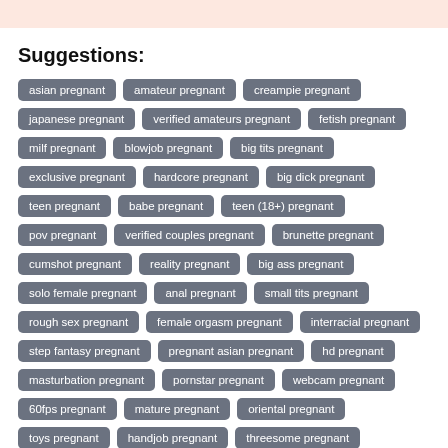Suggestions:
asian pregnant
amateur pregnant
creampie pregnant
japanese pregnant
verified amateurs pregnant
fetish pregnant
milf pregnant
blowjob pregnant
big tits pregnant
exclusive pregnant
hardcore pregnant
big dick pregnant
teen pregnant
babe pregnant
teen (18+) pregnant
pov pregnant
verified couples pregnant
brunette pregnant
cumshot pregnant
reality pregnant
big ass pregnant
solo female pregnant
anal pregnant
small tits pregnant
rough sex pregnant
female orgasm pregnant
interracial pregnant
step fantasy pregnant
pregnant asian pregnant
hd pregnant
masturbation pregnant
pornstar pregnant
webcam pregnant
60fps pregnant
mature pregnant
oriental pregnant
toys pregnant
handjob pregnant
threesome pregnant
pussy licking pregnant
bbw pregnant
casting pregnant
romantic pregnant
blonde pregnant
lesbian pregnant
old/young (18+) pregnant
straight sex pregnant
hairy pregnant
role play pregnant